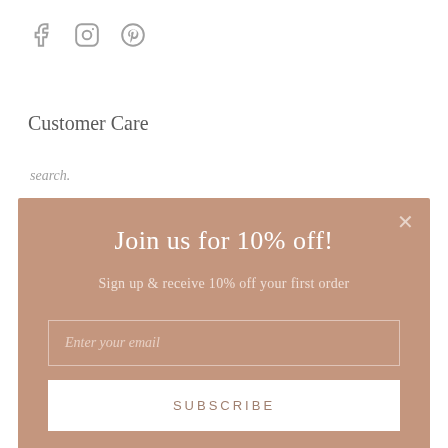[Figure (other): Social media icons: Facebook (f), Instagram (circle), Pinterest (p) in gray]
Customer Care
search.
[Figure (screenshot): Modal popup with tan/beige background. Title: 'Join us for 10% off!'. Subtitle: 'Sign up & receive 10% off your first order'. Email input field with placeholder 'Enter your email'. Subscribe button at bottom. Close X button in top right corner.]